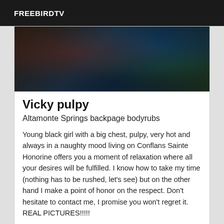FREEBIRDTV
[Figure (photo): Dark moody photo with dark reddish and teal tones, appears to show a figure in a dimly lit outdoor setting]
Vicky pulpy
Altamonte Springs backpage bodyrubs
Young black girl with a big chest, pulpy, very hot and always in a naughty mood living on Conflans Sainte Honorine offers you a moment of relaxation where all your desires will be fulfilled. I know how to take my time (nothing has to be rushed, let's see) but on the other hand I make a point of honor on the respect. Don't hesitate to contact me, I promise you won't regret it. REAL PICTURES!!!!!